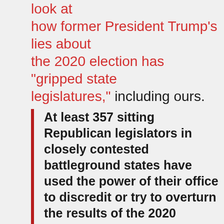look at how former President Trump's lies about the 2020 election has "gripped state legislatures," including ours.
At least 357 sitting Republican legislators in closely contested battleground states have used the power of their office to discredit or try to overturn the results of the 2020 presidential election, according to a review of legislative votes, records and official statements by The New York Times. The tally accounts for 44 percent